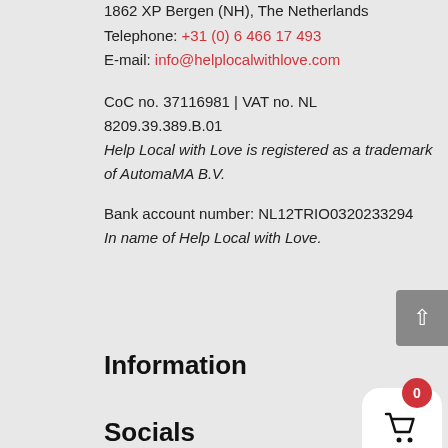1862 XP Bergen (NH), The Netherlands
Telephone: +31 (0) 6 466 17 493
E-mail: info@helplocalwithlove.com
CoC no. 37116981 | VAT no. NL 8209.39.389.B.01
Help Local with Love is registered as a trademark of AutomaMA B.V.
Bank account number: NL12TRIO0320233294
In name of Help Local with Love.
Information
Socials